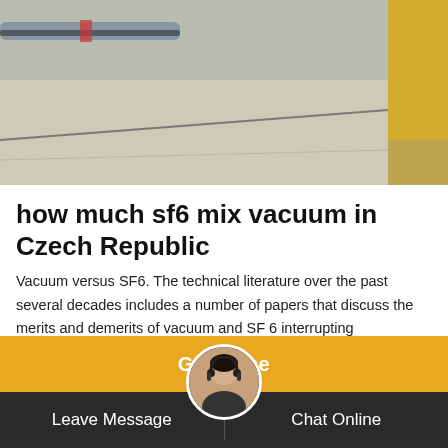[Figure (photo): Aerial or ground-level photo of a concrete surface/road with a yellow stripe on the right side and pipes/equipment visible at the top left]
how much sf6 mix vacuum in Czech Republic
Vacuum versus SF6. The technical literature over the past several decades includes a number of papers that discuss the merits and demerits of vacuum and SF 6 interrupting technologies. Of course, most of the papers are biased in favor of one of the competing technologies, although several appear to strive for an unbiased or neutral point of view.
Get Price | Leave Message | Chat Online